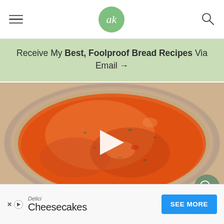ak logo navigation with hamburger menu and search icon
Receive My Best, Foolproof Bread Recipes Via Email →
[Figure (photo): Top-down view of orange tomato soup or sauce in a glass bowl, with a white play button overlay in the center and a teal search icon circle in the bottom right corner]
Delici Cheesecakes SEE MORE